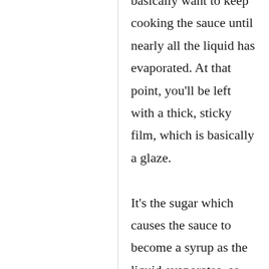basically want to keep cooking the sauce until nearly all the liquid has evaporated. At that point, you'll be left with a thick, sticky film, which is basically a glaze.

It's the sugar which causes the sauce to become a syrup as the liquid evaporates, so